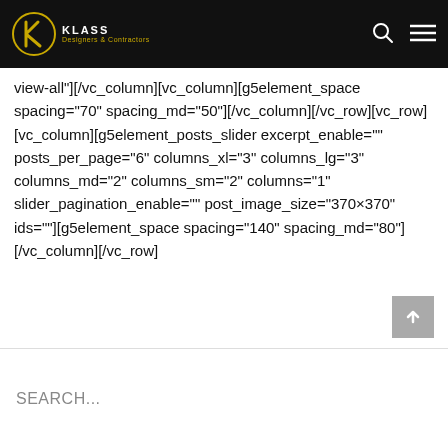KLASS Designers & Contractors
view-all"][/vc_column][vc_column][g5element_space spacing="70" spacing_md="50"][/vc_column][/vc_row][vc_row][vc_column][g5element_posts_slider excerpt_enable="" posts_per_page="6" columns_xl="3" columns_lg="3" columns_md="2" columns_sm="2" columns="1" slider_pagination_enable="" post_image_size="370×370" ids=""][g5element_space spacing="140" spacing_md="80"][/vc_column][/vc_row]
SEARCH...